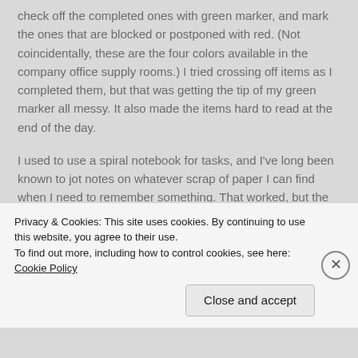check off the completed ones with green marker, and mark the ones that are blocked or postponed with red.  (Not coincidentally, these are the four colors available in the company office supply rooms.)  I tried crossing off items as I completed them, but that was getting the tip of my green marker all messy.  It also made the items hard to read at the end of the day.
I used to use a spiral notebook for tasks, and I've long been known to jot notes on whatever scrap of paper I can find when I need to remember something.  That worked, but the little whiteboard has been really helping me
Privacy & Cookies: This site uses cookies. By continuing to use this website, you agree to their use.
To find out more, including how to control cookies, see here: Cookie Policy